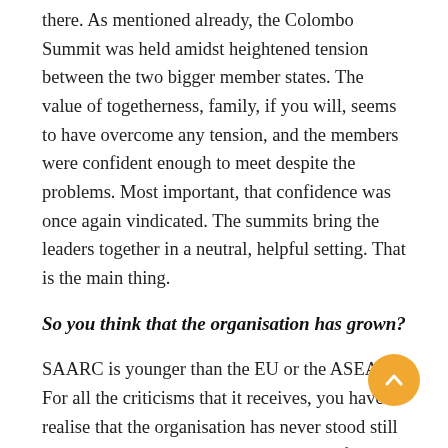there. As mentioned already, the Colombo Summit was held amidst heightened tension between the two bigger member states. The value of togetherness, family, if you will, seems to have overcome any tension, and the members were confident enough to meet despite the problems. Most important, that confidence was once again vindicated. The summits bring the leaders together in a neutral, helpful setting. That is the main thing.
So you think that the organisation has grown?
SAARC is younger than the EU or the ASEAN. For all the criticisms that it receives, you have to realise that the organisation has never stood still between 1985 and 1999. 'There is a bit of an image